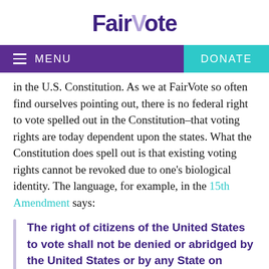FairVote
in the U.S. Constitution. As we at FairVote so often find ourselves pointing out, there is no federal right to vote spelled out in the Constitution–that voting rights are today dependent upon the states. What the Constitution does spell out is that existing voting rights cannot be revoked due to one's biological identity. The language, for example, in the 15th Amendment says:
The right of citizens of the United States to vote shall not be denied or abridged by the United States or by any State on account of race, color, or previous condition of servitude.